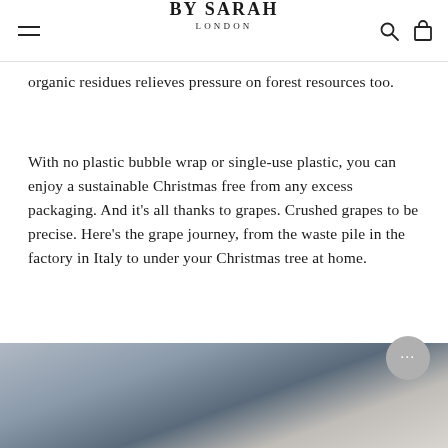BY SARAH LONDON
organic residues relieves pressure on forest resources too.
With no plastic bubble wrap or single-use plastic, you can enjoy a sustainable Christmas free from any excess packaging. And it's all thanks to grapes. Crushed grapes to be precise. Here's the grape journey, from the waste pile in the factory in Italy to under your Christmas tree at home.
[Figure (photo): A person wearing blue gloves working with pale/cream coloured material in a factory setting, likely the grape-based packaging material being processed.]